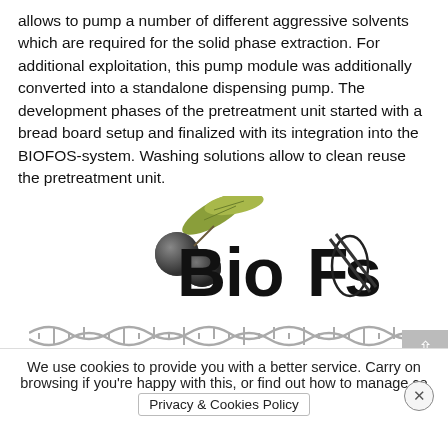allows to pump a number of different aggressive solvents which are required for the solid phase extraction. For additional exploitation, this pump module was additionally converted into a standalone dispensing pump. The development phases of the pretreatment unit started with a bread board setup and finalized with its integration into the BIOFOS-system. Washing solutions allow to clean reuse the pretreatment unit.
[Figure (logo): BIOFOS logo featuring olive branch with olives, stylized BioFos text in mixed fonts, and a DNA double helix strip across the bottom]
We use cookies to provide you with a better service. Carry on browsing if you're happy with this, or find out how to manage co... Privacy & Cookies Policy